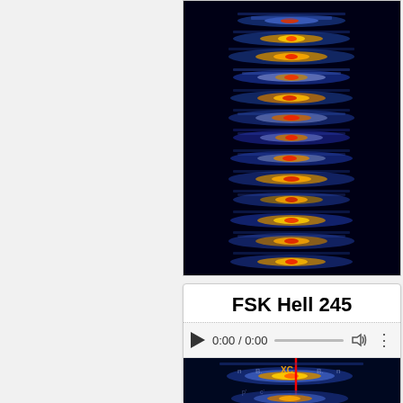[Figure (continuous-plot): Spectrogram (waterfall plot) showing FSK/Hell signal patterns. Dark navy background with repeated horizontal bands of blue, orange, red, and yellow indicating signal energy at various frequencies over time.]
FSK Hell 245
[Figure (screenshot): Audio player UI showing play button, time 0:00 / 0:00, progress bar, volume icon, and more options button.]
[Figure (continuous-plot): Spectrogram showing FSK Hell 245 signal with a bright red vertical cursor line through orange/yellow frequency content on a dark background.]